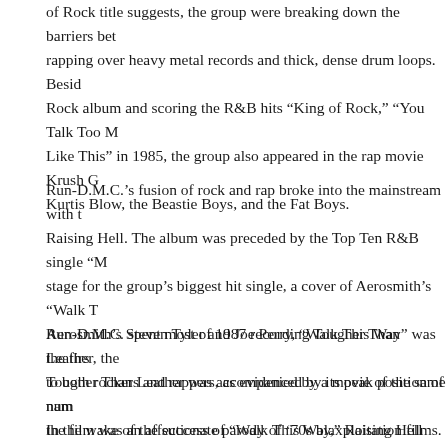of Rock title suggests, the group were breaking down the barriers between rapping over heavy metal records and thick, dense drum loops. Besides the King of Rock album and scoring the R&B hits "King of Rock," "You Talk Too Much," and "Like This" in 1985, the group also appeared in the rap movie Krush Groove alongside Kurtis Blow, the Beastie Boys, and the Fat Boys.
Run-D.M.C.'s fusion of rock and rap broke into the mainstream with their 1986 LP Raising Hell. The album was preceded by the Top Ten R&B single "My Adidas," setting the stage for the group's biggest hit single, a cover of Aerosmith's "Walk This Way." Featuring Aerosmith's Steven Tyler and Joe Perry, "Walk This Way" was the first rap record to appeal to both rockers and rappers, as evidenced by its peak position of number four on the pop charts. In the wake of the success of "Walk This Way," Raising Hell became the first rap album to hit number one on the R&B charts, to chart in the pop Top Ten, and to go platinum. Run-D.M.C. were the first rap act to received airplay on MTV — they were the first rap act to truly cross into the pop mainstream. Raising Hell also spawned the hit singles "You Be Illin'" and...
Run-D.M.C. spent most of 1987 recording Tougher Than Leather, their third album. Tougher Than Leather was accompanied by a movie of the same name; directed by Rubin, the film was an affectionate parody of '70s blaxploitation films. Although Run-D.M.C. were at the height of their popularity when they were recording and filming Tougher Than Leather, by the time the project was released, the rap world had changed. Most of the audience was beginning to hear hardcore political rappers like Public Enemy, not crossover ar...